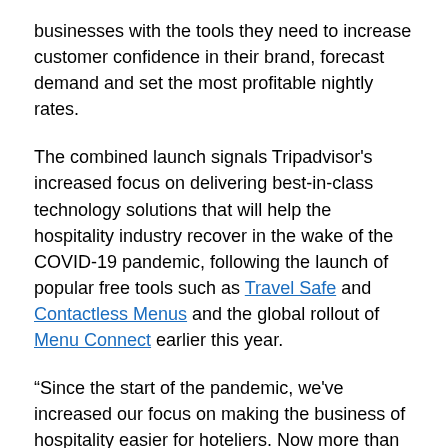businesses with the tools they need to increase customer confidence in their brand, forecast demand and set the most profitable nightly rates.
The combined launch signals Tripadvisor's increased focus on delivering best-in-class technology solutions that will help the hospitality industry recover in the wake of the COVID-19 pandemic, following the launch of popular free tools such as Travel Safe and Contactless Menus and the global rollout of Menu Connect earlier this year.
“Since the start of the pandemic, we've increased our focus on making the business of hospitality easier for hoteliers. Now more than ever, they need actionable insights and easy-to-use tools that help build their brand and maximize their profitability, all while saving them time,” said Martin Verdon-Roe, general manager of hospitality solutions at Tripadvisor. “The launch of Spotlight and Reputation Pro, alongside our existing Business